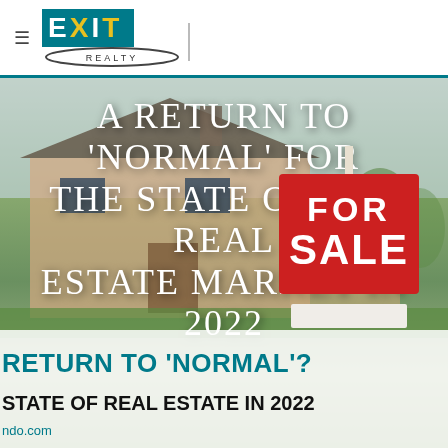EXIT Realty logo header
[Figure (photo): Hero image of a suburban house with a For Sale sign overlay and large white uppercase text reading 'A RETURN TO NORMAL? FOR THE STATE OF THE REAL ESTATE MARKET IN 2022']
A RETURN TO 'NORMAL'? FOR THE STATE OF THE REAL ESTATE MARKET IN 2022
RETURN TO 'NORMAL'? STATE OF REAL ESTATE IN 2022
ndo.com